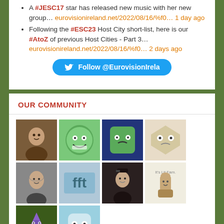A #JESC17 star has released new music with her new group… eurovisionireland.net/2022/08/16/%f0… 1 day ago
Following the #ESC23 Host City short-list, here is our #AtoZ of previous Host Cities - Part 3… eurovisionireland.net/2022/08/16/%f0… 2 days ago
Follow @EurovisionIrela
OUR COMMUNITY
[Figure (photo): Grid of community member avatar images, 10 avatars total in two rows]
WHO ARE WE?